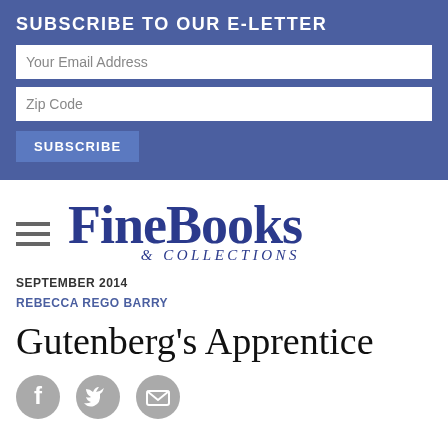SUBSCRIBE TO OUR E-LETTER
Your Email Address
Zip Code
SUBSCRIBE
[Figure (logo): FineBooks & Collections magazine logo with hamburger menu icon]
SEPTEMBER 2014
REBECCA REGO BARRY
Gutenberg's Apprentice
[Figure (infographic): Facebook, Twitter, and email share icons (three grey circles)]